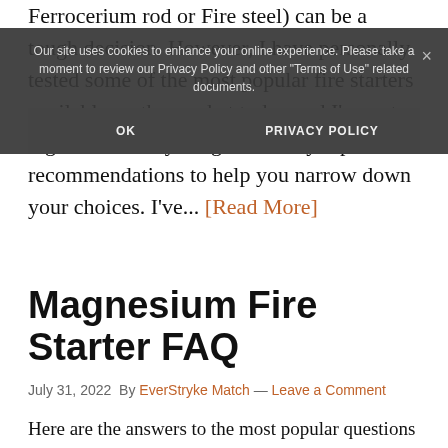Ferrocerium rod or Fire steel) can be a tough decision. However, I have personally tested some of the most popular fire starters available on the market today and I've put together this buyer's guide of my top recommendations to help you narrow down your choices. I've... [Read More]
[Figure (screenshot): Cookie consent overlay with dark semi-transparent background, text 'Our site uses cookies to enhance your online experience. Please take a moment to review our Privacy Policy and other Terms of Use related documents.', OK and PRIVACY POLICY buttons, and an X close button.]
Magnesium Fire Starter FAQ
July 31, 2022 By EverStryke Match — Leave a Comment
Here are the answers to the most popular questions about magnesium fire starters,